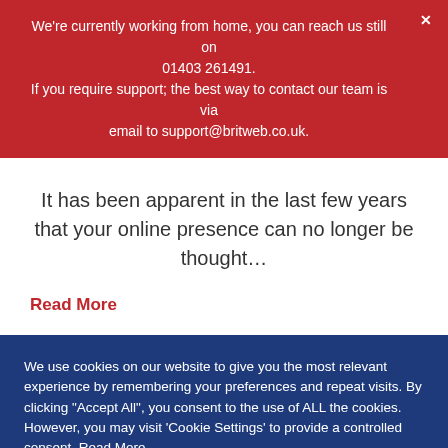We're currently working from home, you can reach us still on 01403 261491. If you require support; the best way to contact our team is via email to support@britweb.co.uk.
It has been apparent in the last few years that your online presence can no longer be thought…
Read More
We use cookies on our website to give you the most relevant experience by remembering your preferences and repeat visits. By clicking "Accept All", you consent to the use of ALL the cookies. However, you may visit 'Cookie Settings' to provide a controlled consent. Read More.